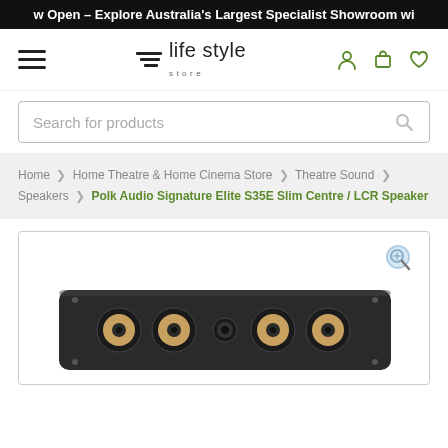w Open – Explore Australia's Largest Specialist Showroom wi
[Figure (logo): Life Style Store logo with hamburger menu and navigation icons (user, cart, wishlist)]
Search for products
Home > Home Theatre & Home Cinema Store > Theatre Sound > Speakers > Polk Audio Signature Elite S35E Slim Centre / LCR Speaker
[Figure (photo): Product photo of Polk Audio Signature Elite S35E Slim Centre / LCR Speaker — a black rectangular center channel speaker with multiple drivers visible from above-angle view.]